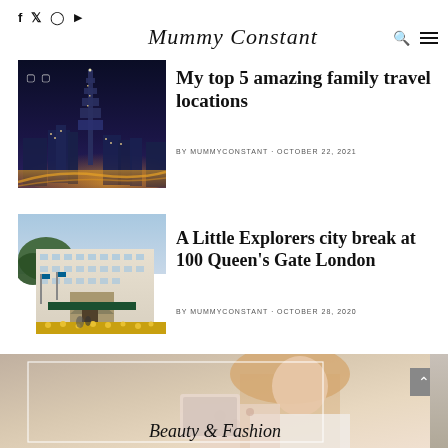f  Twitter  Instagram  YouTube
Mummy Constant
[Figure (photo): Night cityscape of Dubai with Burj Khalifa illuminated against a dark sky, glowing city lights below]
My top 5 amazing family travel locations
BY MUMMYCONSTANT · OCTOBER 22, 2021
[Figure (photo): Exterior of a grand hotel building, 100 Queen's Gate London, with green flags and yellow flower displays]
A Little Explorers city break at 100 Queen's Gate London
BY MUMMYCONSTANT · OCTOBER 28, 2020
[Figure (photo): Woman holding a tablet device, partially cropped, with text overlay reading Beauty & Fashion]
Beauty & Fashion